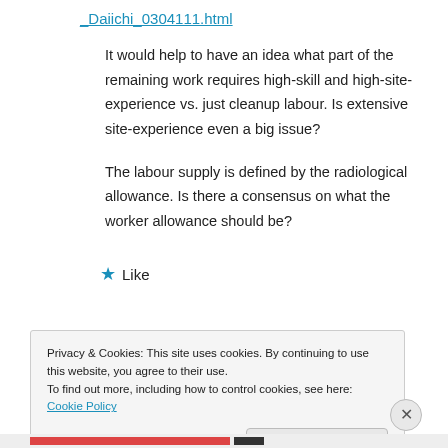_Daiichi_0304111.html
It would help to have an idea what part of the remaining work requires high-skill and high-site-experience vs. just cleanup labour. Is extensive site-experience even a big issue?
The labour supply is defined by the radiological allowance. Is there a consensus on what the worker allowance should be?
★ Like
Privacy & Cookies: This site uses cookies. By continuing to use this website, you agree to their use.
To find out more, including how to control cookies, see here: Cookie Policy
Close and accept